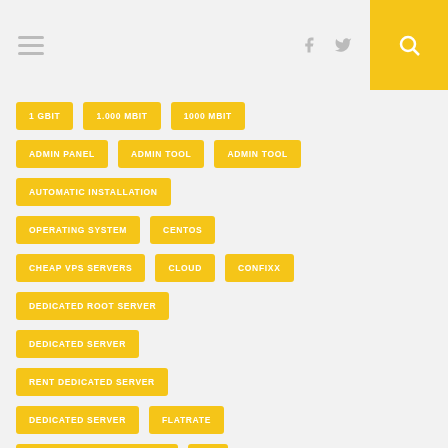Navigation header with hamburger menu, social icons, and search button
1 GBIT
1.000 MBIT
1000 MBIT
ADMIN PANEL
ADMIN TOOL
ADMIN TOOL
AUTOMATIC INSTALLATION
OPERATING SYSTEM
CENTOS
CHEAP VPS SERVERS
CLOUD
CONFIXX
DEDICATED ROOT SERVER
DEDICATED SERVER
RENT DEDICATED SERVER
DEDICATED SERVER
FLATRATE
INEXPENSIVE ROOT SERVER
HP
HP ROOT SERVER
HP SERVER
LINUX
BRANDED SERVER
OPENSUSE
PARALLELS